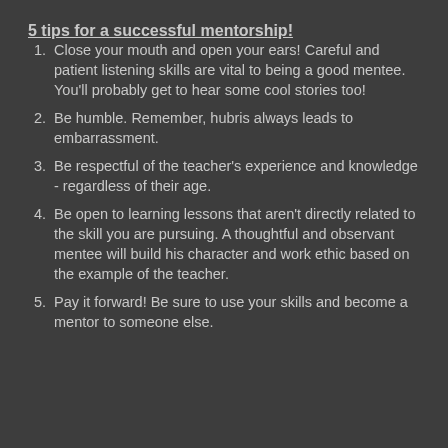5 tips for a successful mentorship!
Close your mouth and open your ears! Careful and patient listening skills are vital to being a good mentee. You'll probably get to hear some cool stories too!
Be humble. Remember, hubris always leads to embarrassment.
Be respectful of the teacher's experience and knowledge - regardless of their age.
Be open to learning lessons that aren't directly related to the skill you are pursuing. A thoughtful and observant mentee will build his character and work ethic based on the example of the teacher.
Pay it forward! Be sure to use your skills and become a mentor to someone else.